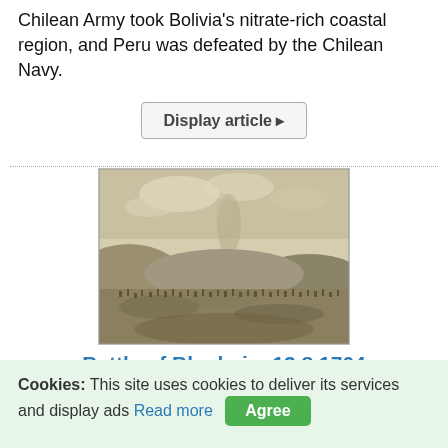Chilean Army took Bolivia's nitrate-rich coastal region, and Peru was defeated by the Chilean Navy.
Display article ▸
[Figure (illustration): Historical engraving/illustration depicting the Battle of Blenheim, showing a panoramic battlefield scene with troops, smoke, and terrain in grayscale.]
Battle of Blenheim 13.8.1704
🗎 1.355   🕐 10.07.2022
The Battle of Höchstädt, better known in the English-speaking world as the Battle of Blenheim, is one of the
Cookies: This site uses cookies to deliver its services and display ads Read more  Agree